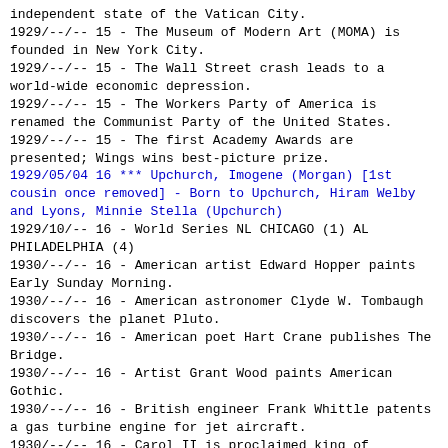independent state of the Vatican City.
1929/--/-- 15 - The Museum of Modern Art (MOMA) is founded in New York City.
1929/--/-- 15 - The Wall Street crash leads to a world-wide economic depression.
1929/--/-- 15 - The Workers Party of America is renamed the Communist Party of the United States.
1929/--/-- 15 - The first Academy Awards are presented; Wings wins best-picture prize.
1929/05/04 16 *** Upchurch, Imogene (Morgan) [1st cousin once removed] - Born to Upchurch, Hiram Welby and Lyons, Minnie Stella (Upchurch)
1929/10/-- 16 - World Series NL CHICAGO (1) AL PHILADELPHIA (4)
1930/--/-- 16 - American artist Edward Hopper paints Early Sunday Morning.
1930/--/-- 16 - American astronomer Clyde W. Tombaugh discovers the planet Pluto.
1930/--/-- 16 - American poet Hart Crane publishes The Bridge.
1930/--/-- 16 - Artist Grant Wood paints American Gothic.
1930/--/-- 16 - British engineer Frank Whittle patents a gas turbine engine for jet aircraft.
1930/--/-- 16 - Carol II is proclaimed king of Romania.
1930/--/-- 16 - Dashiell Hammett publishes the detective novel The Maltese Falcon.
1930/--/-- 16 - English-born American writer W. H. Auden publishes his Poems.
1930/--/-- 16 - Getulio Vargas is appointed president